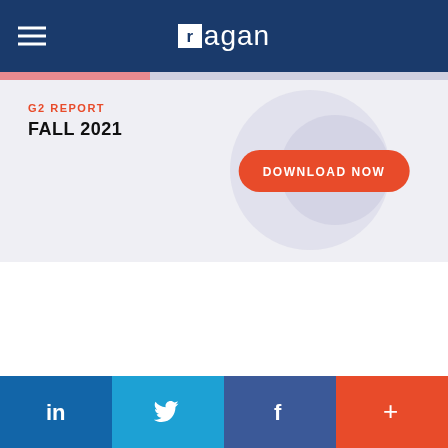Ragan
[Figure (screenshot): G2 Report Fall 2021 banner ad with a Download Now button on a light gray background with decorative circles]
G2 REPORT
FALL 2021
LinkedIn | Twitter | Facebook | +